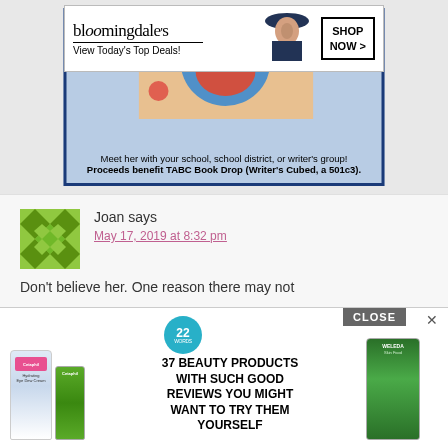[Figure (screenshot): Bloomingdale's advertisement banner with logo, 'View Today's Top Deals!' tagline, woman in hat image, and 'SHOP NOW >' button]
[Figure (illustration): Book promotion box with blue border, colorful illustrated book cover image, text about meeting author with school/district/writer's group]
Meet her with your school, school district, or writer's group! Proceeds benefit TABC Book Drop (Writer's Cubed, a 501c3).
[Figure (illustration): Green/white geometric avatar icon for commenter Joan]
Joan says
May 17, 2019 at 8:32 pm
Don't believe her. One reason there may not
[Figure (screenshot): Bottom advertisement overlay: '37 BEAUTY PRODUCTS WITH SUCH GOOD REVIEWS YOU MIGHT WANT TO TRY THEM YOURSELF' with Cetaphil and Weleda product images, '22' badge, CLOSE button, and X close button]